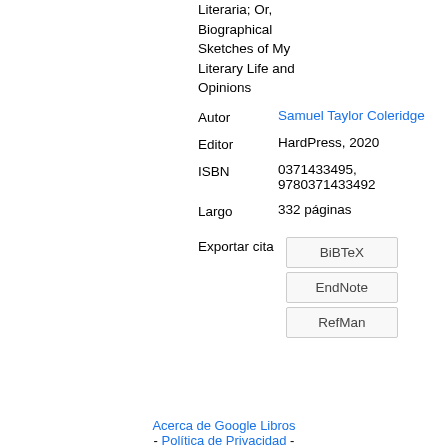Literaria; Or, Biographical Sketches of My Literary Life and Opinions
Autor: Samuel Taylor Coleridge
Editor: HardPress, 2020
ISBN: 0371433495, 9780371433492
Largo: 332 páginas
Exportar cita: BiBTeX, EndNote, RefMan
Acerca de Google Libros - Política de Privacidad -